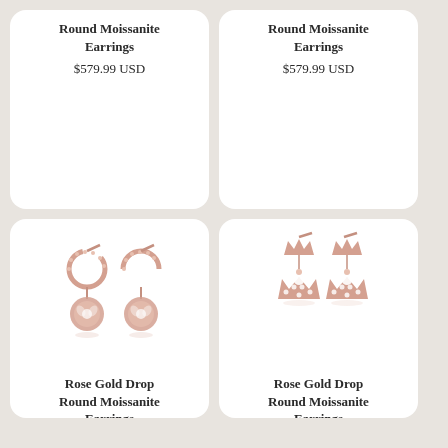Round Moissanite Earrings
$579.99 USD
Round Moissanite Earrings
$579.99 USD
[Figure (photo): Rose gold drop round moissanite earrings - hoop style with circular gemstone pendant]
Rose Gold Drop Round Moissanite Earrings
$579.99 USD
[Figure (photo): Rose gold drop round moissanite earrings - crown shaped studs with crown pendant]
Rose Gold Drop Round Moissanite Earrings
$579.99 USD